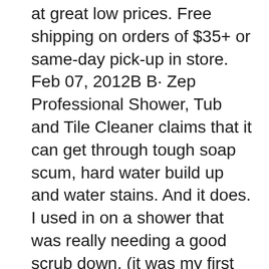at great low prices. Free shipping on orders of $35+ or same-day pick-up in store. Feb 07, 2012В В· Zep Professional Shower, Tub and Tile Cleaner claims that it can get through tough soap scum, hard water build up and water stains. And it does. I used in on a shower that was really needing a good scrub down. (it was my first time cleaning for this client) I generously sprayed down the shower, tub and faucet.
May 12, 2016В В· My review/warning of the use of Zep Grout Cleaner and Whitener. This is an acid based product that will damage any stainless steel appliances if вЂ¦ Write a Review Г— ZEP SHOWER, TUB AND TILE CLEANER - GALLON Zep Shower Tub and Tile Cleaner 1 Gallon ZUSTT - No Scrub Pro Formula. Related Products;